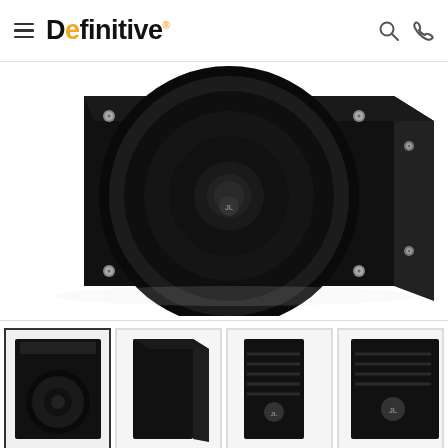Definitive [website header with hamburger menu, logo, search icon, phone icon]
[Figure (photo): Large product photo of a JL Audio subwoofer speaker — black gloss cabinet with large circular woofer cone, silver mounting screws, and JL Audio logo badge, shown at an angle]
[Figure (photo): Thumbnail 1 (selected): Front view of JL Audio subwoofer showing woofer and control panel]
[Figure (photo): Thumbnail 2: Side/rear view of black JL Audio subwoofer cabinet]
[Figure (photo): Thumbnail 3: Side view of black JL Audio subwoofer with fins/vents and badge]
[Figure (photo): Thumbnail 4: Partial view of JL Audio subwoofer rear panel with badge, partially cropped]